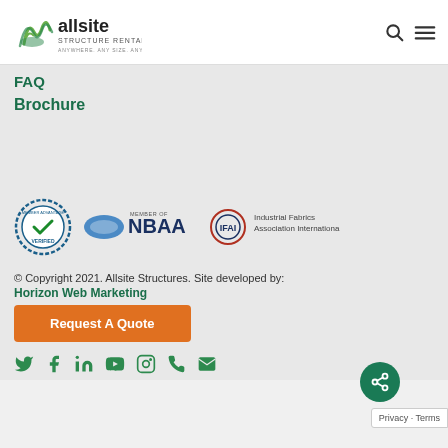[Figure (logo): Allsite Structure Rentals logo with green wave icon and tagline ANYWHERE. ANY SIZE. ANY TIME.]
FAQ
Brochure
[Figure (logo): Three certification/association logos: Verified badge, Member of NBAA, and Industrial Fabrics Association International (IFAI)]
© Copyright 2021. Allsite Structures. Site developed by:
Horizon Web Marketing
Request A Quote
[Figure (infographic): Social media icons row: Twitter, Facebook, LinkedIn, YouTube, Instagram, Phone, Email]